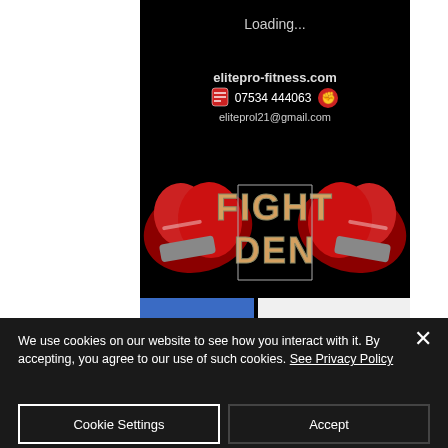[Figure (screenshot): Website screenshot of elitepro-fitness.com Fight Den page loading on black background with boxing gloves logo and contact information]
Loading...
elitepro-fitness.com
07534 444063
eliteprol21@gmail.com
We use cookies on our website to see how you interact with it. By accepting, you agree to our use of such cookies. See Privacy Policy
Cookie Settings
Accept